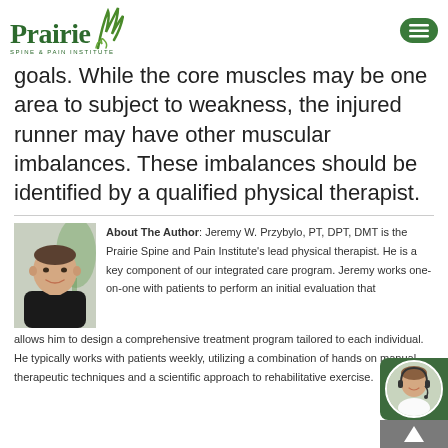Prairie Spine & Pain Institute — navigation header
goals. While the core muscles may be one area to subject to weakness, the injured runner may have other muscular imbalances. These imbalances should be identified by a qualified physical therapist.
[Figure (photo): Headshot photo of Jeremy W. Przybylo, a man in a black shirt smiling, with a plant in the background]
About The Author: Jeremy W. Przybylo, PT, DPT, DMT is the Prairie Spine and Pain Institute's lead physical therapist. He is a key component of our integrated care program. Jeremy works one-on-one with patients to perform an initial evaluation that allows him to design a comprehensive treatment program tailored to each individual. He typically works with patients weekly, utilizing a combination of hands on manual therapeutic techniques and a scientific approach to rehabilitative exercise.
[Figure (photo): Chat widget with circular photo of a woman with headset in bottom right corner]
[Figure (illustration): Scroll-to-top button arrow icon in grey box at bottom right]